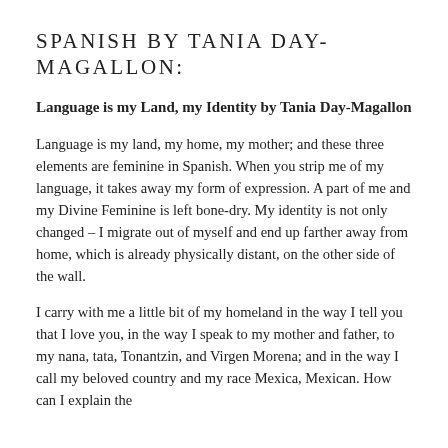SPANISH BY TANIA DAY-MAGALLON:
Language is my Land, my Identity by Tania Day-Magallon
Language is my land, my home, my mother; and these three elements are feminine in Spanish. When you strip me of my language, it takes away my form of expression. A part of me and my Divine Feminine is left bone-dry. My identity is not only changed – I migrate out of myself and end up farther away from home, which is already physically distant, on the other side of the wall.
I carry with me a little bit of my homeland in the way I tell you that I love you, in the way I speak to my mother and father, to my nana, tata, Tonantzin, and Virgen Morena; and in the way I call my beloved country and my race Mexica, Mexican. How can I explain the